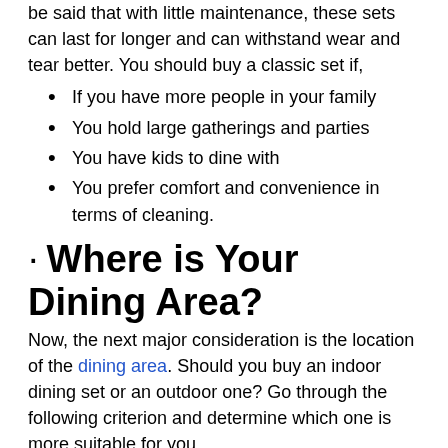be said that with little maintenance, these sets can last for longer and can withstand wear and tear better. You should buy a classic set if,
If you have more people in your family
You hold large gatherings and parties
You have kids to dine with
You prefer comfort and convenience in terms of cleaning.
· Where is Your Dining Area?
Now, the next major consideration is the location of the dining area. Should you buy an indoor dining set or an outdoor one? Go through the following criterion and determine which one is more suitable for you.
Indoor Dining Set
Purchase an indoor set if you have a specific placement in mind. What else should you consider? Here comes the list.